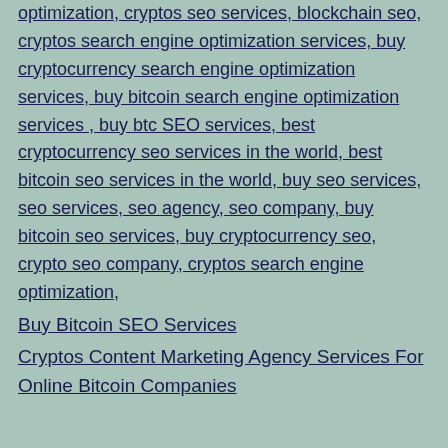optimization, cryptos seo services, blockchain seo, cryptos search engine optimization services, buy cryptocurrency search engine optimization services, buy bitcoin search engine optimization services , buy btc SEO services, best cryptocurrency seo services in the world, best bitcoin seo services in the world, buy seo services, seo services, seo agency, seo company, buy bitcoin seo services, buy cryptocurrency seo, crypto seo company, cryptos search engine optimization,
Buy Bitcoin SEO Services
Cryptos Content Marketing Agency Services For Online Bitcoin Companies